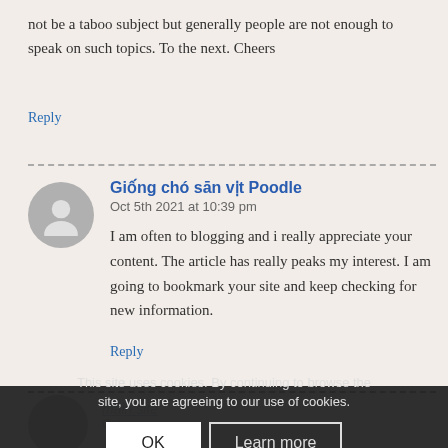not be a taboo subject but generally people are not enough to speak on such topics. To the next. Cheers
Reply
Giống chó sān vịt Poodle
Oct 5th 2021 at 10:39 pm
I am often to blogging and i really appreciate your content. The article has really peaks my interest. I am going to bookmark your site and keep checking for new information.
Reply
This site uses cookies. By continuing to browse the site, you are agreeing to our use of cookies.
OK   Learn more